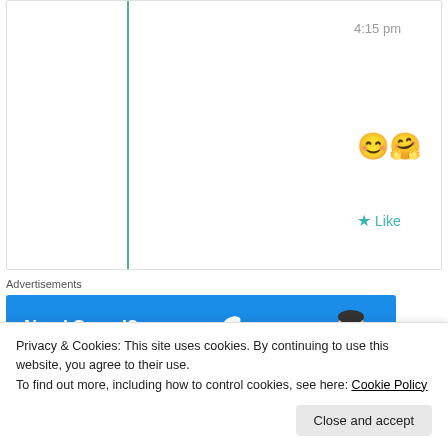4:15 pm
[Figure (other): Two emojis: smiling face and hugging face]
★ Like
Advertisements
[Figure (other): Blue advertisement banner: Need Speed? Get P Pressable, with a person flying horizontally]
REPORT THIS AD
GraceoftheSun
Privacy & Cookies: This site uses cookies. By continuing to use this website, you agree to their use. To find out more, including how to control cookies, see here: Cookie Policy
Close and accept
animals sense the energy that people carry and